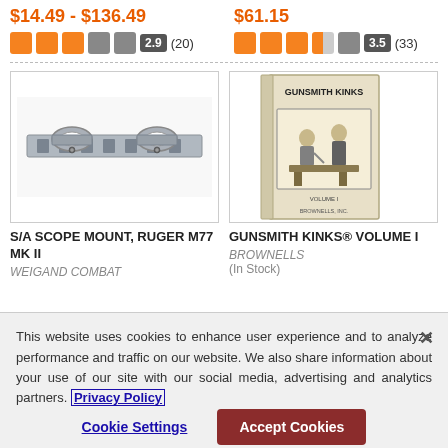$14.49 - $136.49
[Figure (other): Star rating: 2.9 out of 5 (20 reviews)]
$61.15
[Figure (other): Star rating: 3.5 out of 5 (33 reviews)]
[Figure (photo): S/A Scope Mount, Ruger M77 MK II product photo showing a metal scope mount rail]
S/A SCOPE MOUNT, RUGER M77 MK II
WEIGAND COMBAT
[Figure (photo): Gunsmith Kinks Volume I book cover showing title and illustration]
GUNSMITH KINKS® VOLUME I
BROWNELLS
(In Stock)
This website uses cookies to enhance user experience and to analyze performance and traffic on our website. We also share information about your use of our site with our social media, advertising and analytics partners. Privacy Policy
Cookie Settings
Accept Cookies